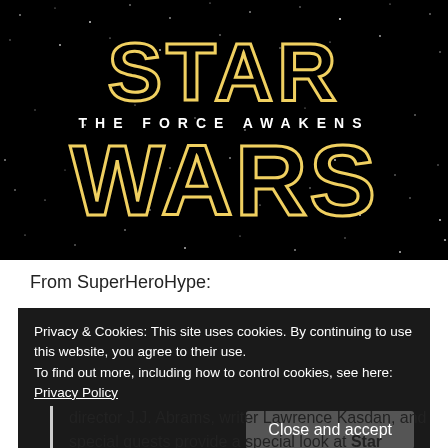[Figure (illustration): Star Wars: The Force Awakens movie logo on a black starfield background. 'STAR' in large yellow outlined letters on top, 'THE FORCE AWAKENS' in smaller white spaced caps in the middle, 'WARS' in large yellow outlined letters on the bottom.]
From SuperHeroHype:
Privacy & Cookies: This site uses cookies. By continuing to use this website, you agree to their use.
To find out more, including how to control cookies, see here: Privacy Policy
Close and accept
director J.J. Abrams, writer Lawrence Kasdan, and special guests provide a special look at Star Wars: